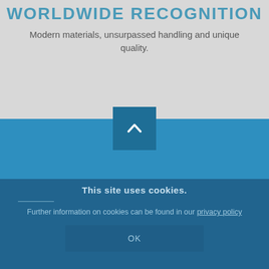WORLDWIDE RECOGNITION
Modern materials, unsurpassed handling and unique quality.
[Figure (other): Blue scroll-to-top button with upward chevron arrow, centered at the boundary between grey and blue sections]
This site uses cookies.
Further information on cookies can be found in our privacy policy
OK